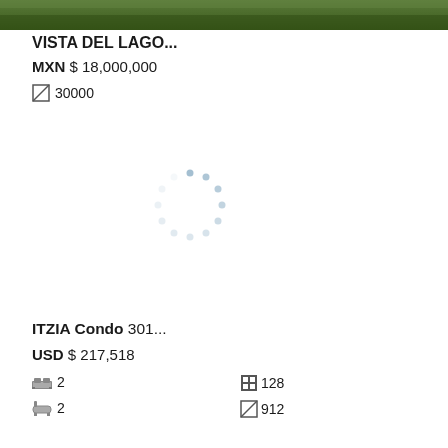[Figure (photo): Top banner image showing greenery/landscape, partially cropped at top of page]
VISTA DEL LAGO...
MXN $ 18,000,000
30000
[Figure (other): Loading spinner (dashed circle) indicating image loading in progress]
ITZIA Condo 301...
USD $ 217,518
2 (beds)
2 (baths)
128
912